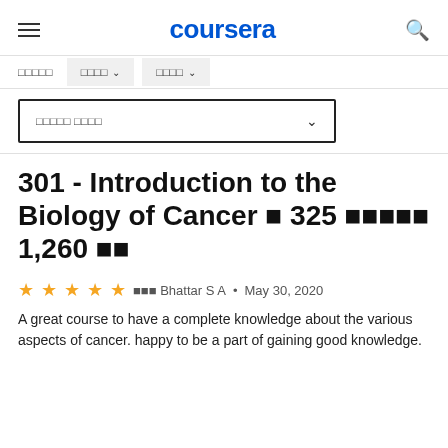coursera
□□□□□  □□□□ ∨  □□□□ ∨
□□□□□ □□□□ ∨
301 - Introduction to the Biology of Cancer ⊠ 325 ⊠⊠⊠⊠⊠ 1,260 ⊠⊠
⊠⊠⊠ Bhattar S A • May 30, 2020
A great course to have a complete knowledge about the various aspects of cancer. happy to be a part of gaining good knowledge.